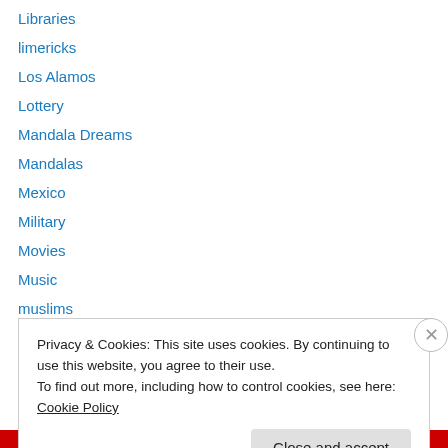Libraries
limericks
Los Alamos
Lottery
Mandala Dreams
Mandalas
Mexico
Military
Movies
Music
muslims
Native American
Native Americans
Privacy & Cookies: This site uses cookies. By continuing to use this website, you agree to their use.
To find out more, including how to control cookies, see here: Cookie Policy
Close and accept